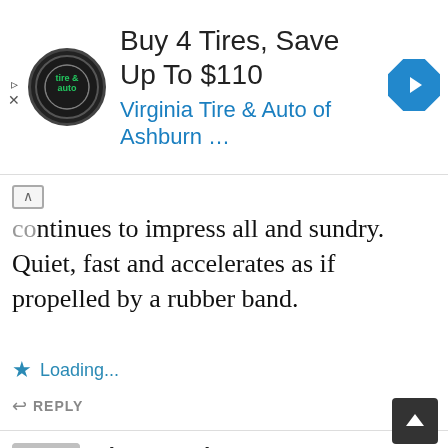[Figure (screenshot): Advertisement banner: tire & auto logo, 'Buy 4 Tires, Save Up To $110', 'Virginia Tire & Auto of Ashburn ...' with a blue navigation arrow icon]
...continues to impress all and sundry. Quiet, fast and accelerates as if propelled by a rubber band.
★ Loading...
↩ REPLY
Simon Hodgetts says:
26 AUGUST 2011 AT 6.36 PM
I've always loved the shape of the XJ-S from the early ones, featured in The New...